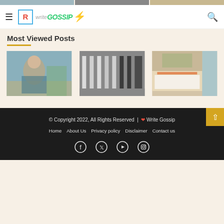[Figure (screenshot): Top strip with three partial thumbnail images visible at the top of the page]
Write Gossip — navigation bar with hamburger menu and search icon
Most Viewed Posts
[Figure (photo): Elderly man sitting in a yellow chair, reading a book, with someone holding a cup nearby]
[Figure (photo): Clothing store interior with white t-shirts on racks and a dark industrial background]
[Figure (photo): Luxury hotel bedroom with orange accent pillows, white bedding, and view to outdoor balcony]
© Copyright 2022, All Rights Reserved | ❤ Write Gossip
Home   About Us   Privacy policy   Disclaimer   Contact us
Social icons: Facebook, Twitter, YouTube, Instagram